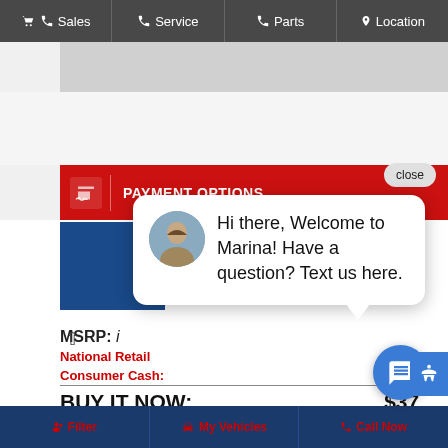Sales  Service  Parts  Location
[Figure (screenshot): Gray vehicle image placeholder area]
[Figure (screenshot): Red PAYMENT OPTIONS bar with close button]
[Figure (screenshot): Blue vehicle image placeholder]
Hi there, Welcome to Marina! Have a question? Text us here.
MSRP: i
National Retail
Consumer Cash:  – $1,000
BUY IT NOW:  $37,
Military Program:  – $500
Filter  My Vehicles  Call Now